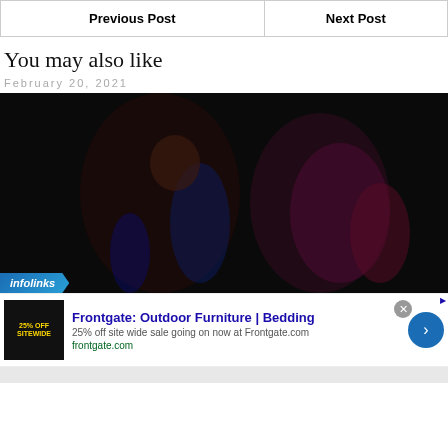| Previous Post | Next Post |
| --- | --- |
You may also like
February 20, 2021
[Figure (photo): Dark nighttime photo with figures, blue and magenta/pink lighting in a very dark scene. Infolinks badge overlay at bottom left.]
[Figure (infographic): Advertisement banner: Frontgate: Outdoor Furniture | Bedding - 25% off site wide sale going on now at Frontgate.com - frontgate.com]